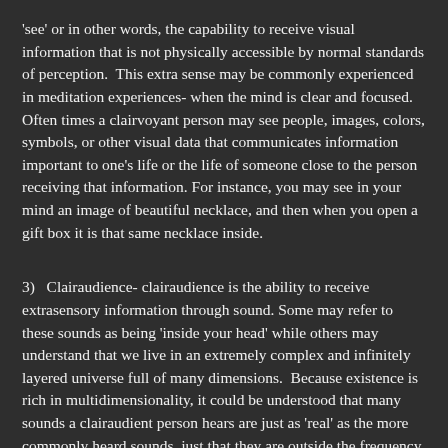'see' or in other words, the capability to receive visual information that is not physically accessible by normal standards of perception.  This extra sense may be commonly experienced in meditation experiences- when the mind is clear and focused.  Often times a clairvoyant person may see people, images, colors, symbols, or other visual data that communicates information important to one's life or the life of someone close to the person receiving that information.  For instance, you may see in your mind an image of beautiful necklace, and then when you open a gift box it is that same necklace inside.
3)   Clairaudience- clairaudience is the ability to receive extrasensory information through sound. Some may refer to these sounds as being 'inside your head' while others may understand that we live in an extremely complex and infinitely layered universe full of many dimensions.  Because existence is rich in multidimensionality, it could be understood that many sounds a clairaudient person hears are just as 'real' as the more commonly heard sounds, just that they are outside the frequency range of most people.  Either way you look at it, clairaudience allows a person to receive guidance or input